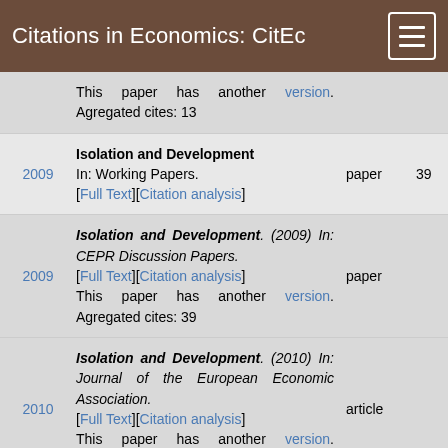Citations in Economics: CitEc
This paper has another version. Agregated cites: 13
Isolation and Development
In: Working Papers.
[Full Text][Citation analysis]
paper 39
Isolation and Development. (2009) In: CEPR Discussion Papers.
[Full Text][Citation analysis]
This paper has another version. Agregated cites: 39
paper
Isolation and Development. (2010) In: Journal of the European Economic Association.
[Full Text][Citation analysis]
This paper has another version. Agregated cites: 39
article